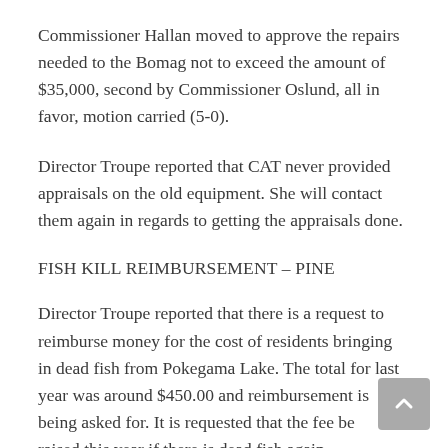Commissioner Hallan moved to approve the repairs needed to the Bomag not to exceed the amount of $35,000, second by Commissioner Oslund, all in favor, motion carried (5-0).
Director Troupe reported that CAT never provided appraisals on the old equipment. She will contact them again in regards to getting the appraisals done.
FISH KILL REIMBURSEMENT – PINE
Director Troupe reported that there is a request to reimburse money for the cost of residents bringing in dead fish from Pokegama Lake. The total for last year was around $450.00 and reimbursement is being asked for. It is requested that the fee be raised this year if there is dead fish again.